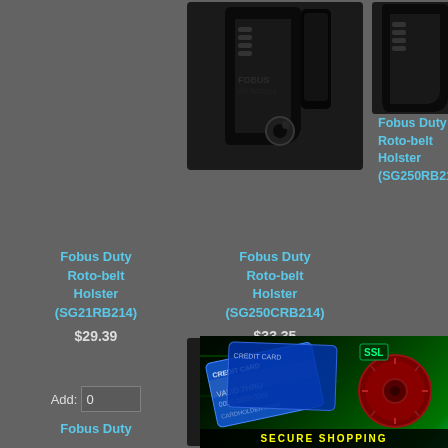[Figure (photo): Product image of Fobus Duty Roto-belt Holster SG21RB214]
Fobus Duty Roto-belt Holster (SG21RB214)
$29.39
Add: 0
[Figure (photo): Product image of Fobus Duty Roto-belt Holster SG250CRB214]
Fobus Duty Roto-belt Holster (SG250CRB214)
$33.35
Add: 0
[Figure (photo): Product image of Fobus Duty Roto-belt Holster SG250RB21...]
Fobus Duty Roto-belt Holster (SG250RB21...
$33.35
Add: 0
[Figure (photo): Product image of Fobus Duty Roto-belt Holster SGE2RB214]
Fobus Duty Roto-belt Holster (SGE2RB214)
[Figure (photo): Product image of Fobus Duty Roto-belt Holster SP11...]
Fobus Duty Roto-belt Holster (SP11...
[Figure (photo): SSL Secure Shopping badge with credit card imagery and combination lock]